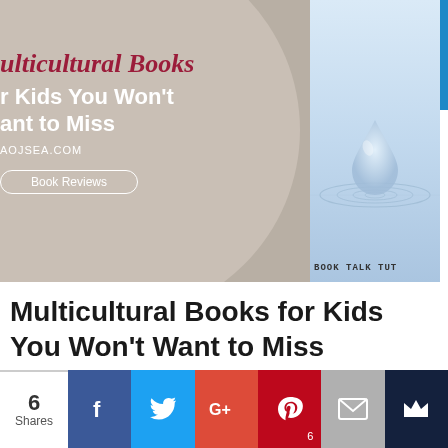[Figure (photo): Blog post header image showing a circular grey background with text overlay 'ulticultural Books r Kids You Won't ant to Miss' in red italic and white bold, a URL 'aojsea.com', a 'Book Reviews' button, and a water drop ripple photo on the right side. 'Book Talk Tuts' watermark bottom right.]
Multicultural Books for Kids You Won't Want to Miss
6 Shares — Social share buttons: Facebook, Twitter, Google+, Pinterest (6), Email, Crown/Bookmark